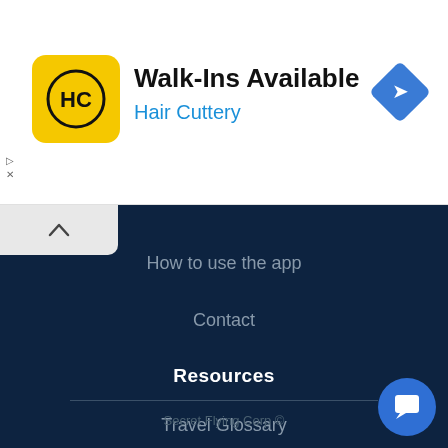[Figure (screenshot): Hair Cuttery advertisement banner with yellow HC logo, title 'Walk-Ins Available', blue brand name 'Hair Cuttery', and a blue diamond navigation icon on the right]
How to use the app
Contact
Resources
Travel Glossary
Secret Flying Corp ©